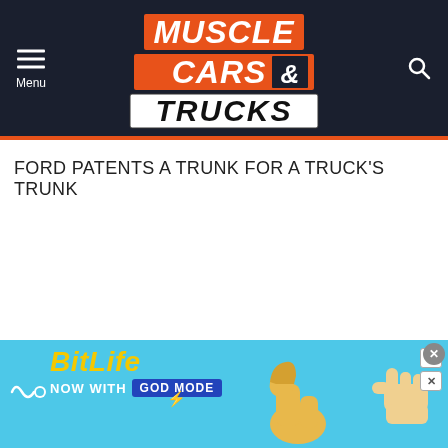Muscle Cars & Trucks
FORD PATENTS A TRUNK FOR A TRUCK'S TRUNK
[Figure (infographic): BitLife advertisement banner with cyan background, BitLife logo in yellow italic text, 'NOW WITH GOD MODE' text, lightning bolt, thumbs up hand illustration, and pointing hand illustration on the right.]